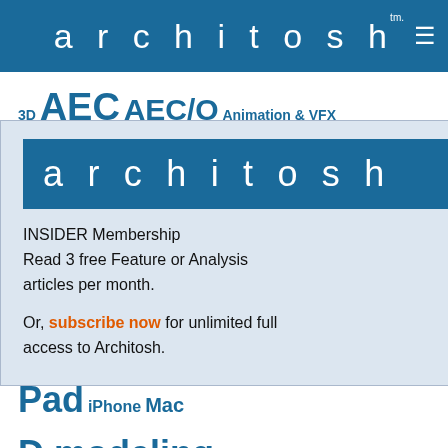architosh™ ≡
3D AEC AEC/O Animation & VFX Apple ArchiCAD Architecture Architecture visualization Autodesk awards BIM CAD CAID Cinema 4D cloud iPad iPhone Mac D modeling rendering SketchUp training lization VR
[Figure (logo): Architosh logo — white text 'architosh' on teal/blue background]
INSIDER Membership
Read 3 free Feature or Analysis articles per month.

Or, subscribe now for unlimited full access to Architosh.